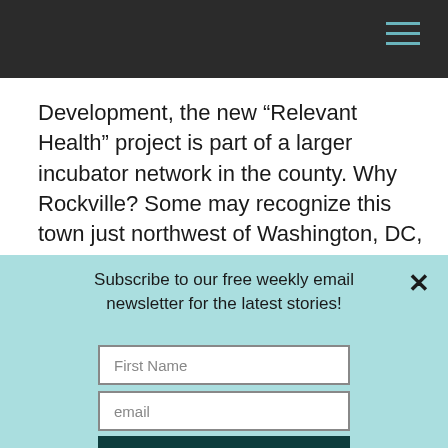Development, the new “Relevant Health” project is part of a larger incubator network in the county. Why Rockville? Some may recognize this town just northwest of Washington, DC, as the backyard for the National Institutes of Health (NIH), the U.S. Food and Drug Administration (FDA), and the U.S. Department of Health & Human Services. As a result, the program puts its client companies right in the
Subscribe to our free weekly email newsletter for the latest stories!
First Name
email
SIGN ME UP